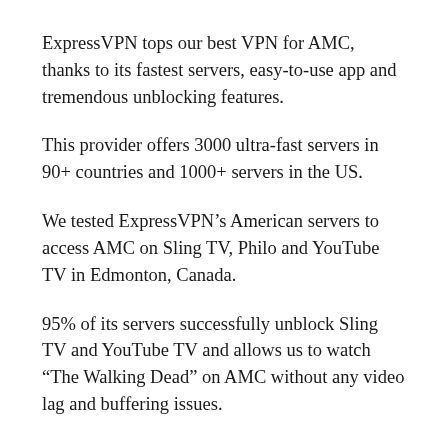ExpressVPN tops our best VPN for AMC, thanks to its fastest servers, easy-to-use app and tremendous unblocking features.
This provider offers 3000 ultra-fast servers in 90+ countries and 1000+ servers in the US.
We tested ExpressVPN's American servers to access AMC on Sling TV, Philo and YouTube TV in Edmonton, Canada.
95% of its servers successfully unblock Sling TV and YouTube TV and allows us to watch “The Walking Dead” on AMC without any video lag and buffering issues.